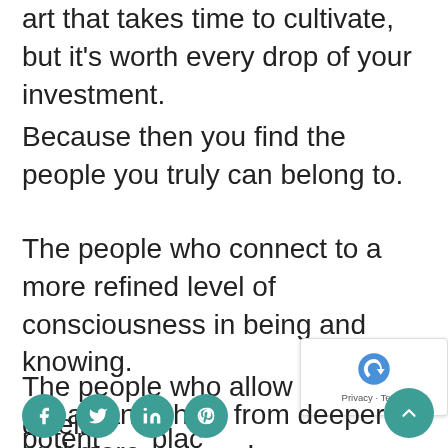art that takes time to cultivate, but it's worth every drop of your investment.
Because then you find the people you truly can belong to.
The people who connect to a more refined level of consciousness in being and knowing.
The people who allow you to dwell and speak and shine from deeper and more potent places.